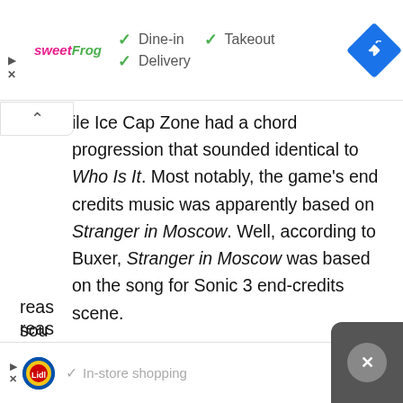[Figure (infographic): Top advertisement banner for sweetFrog with checkmarks for Dine-in, Takeout, Delivery options and a blue navigation diamond icon]
ile Ice Cap Zone had a chord progression that sounded identical to Who Is It. Most notably, the game's end credits music was apparently based on Stranger in Moscow. Well, according to Buxer, Stranger in Moscow was based on the song for Sonic 3 end-credits scene.
The PC port of Sonic 3 didn't contain music that was allegedly Jackson's, and it's not clear whether those tracks were removed for legal reas... sou...
[Figure (infographic): Bottom advertisement banner for Lidl with checkmark for In-store shopping and a blue navigation diamond icon, with dark close overlay in bottom right corner]